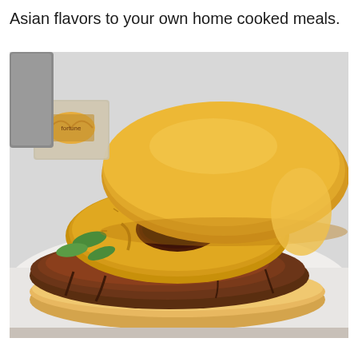Asian flavors to your own home cooked meals.
[Figure (photo): A teriyaki burger with a glazed beef patty topped with a grilled pineapple ring and sliced green onions, served on a brioche bun. In the background there is a fortune cookie in a wrapper.]